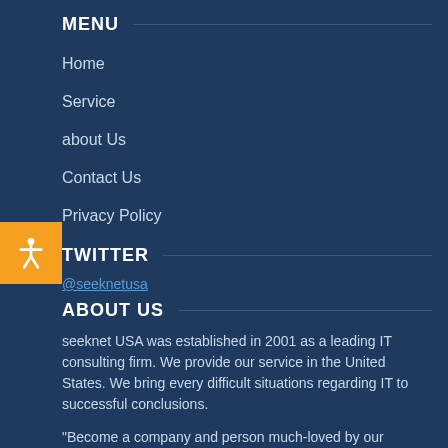MENU
Home
Service
about Us
Contact Us
Privacy Policy
TWITTER
@seeknetusa (twitter link)
ABOUT US
seeknet USA was established in 2001 as a leading IT consulting firm. We provide our service in the United States. We bring every difficult situations regarding IT to successful conclusions.
"Become a company and person much-loved by our customers"
is our company's motto. As well as technical